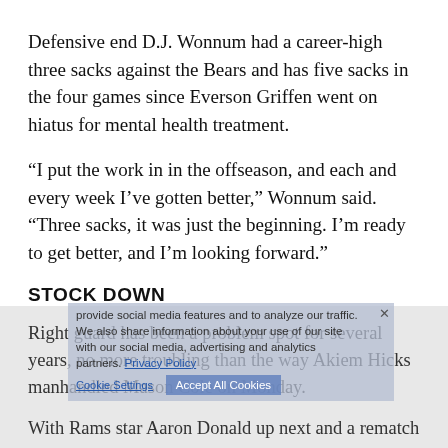Defensive end D.J. Wonnum had a career-high three sacks against the Bears and has five sacks in the four games since Everson Griffen went on hiatus for mental health treatment.
“I put the work in in the offseason, and each and every week I’ve gotten better,” Wonnum said. “Three sacks, it was just the beginning. I’m ready to get better, and I’m looking forward.”
STOCK DOWN
Right guard has been a problem spot for several years, no more troubling than the way Akiem Hicks manhandled Mason Cole on Monday.
With Rams star Aaron Donald up next and a rematch with Hicks and the Bears in less than three weeks the Vikings could be tempted to put the oft-penalized Oli Udoh back in. He’s more than 20 pounds heavier than